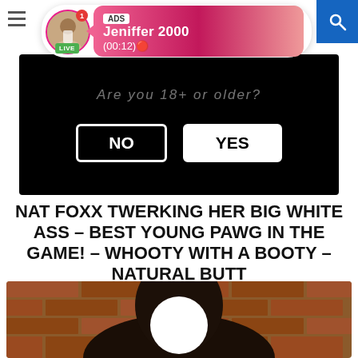[Figure (screenshot): Ad notification bubble with avatar, LIVE badge, ADS label, name Jeniffer 2000, timer (00:12)]
[Figure (screenshot): Age verification overlay on black video background with NO and YES buttons]
NAT FOXX TWERKING HER BIG WHITE ASS – BEST YOUNG PAWG IN THE GAME! – WHOOTY WITH A BOOTY – NATURAL BUTT
[Figure (photo): Person with dark hair in front of brick wall, face censored with white circle]